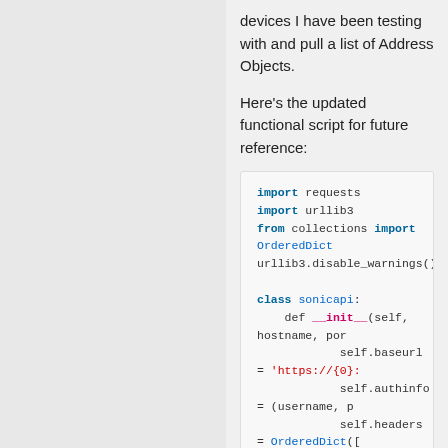devices I have been testing with and pull a list of Address Objects.
Here's the updated functional script for future reference:
[Figure (screenshot): Python code block showing imports (requests, urllib3, OrderedDict), urllib3.disable_warnings(), class sonicapi definition with __init__ method setting baseurl, authinfo, headers (OrderedDict with Accept, Content-Type, Accept-Encoding, Charset), and def auth(self) with controller and url assignments.]